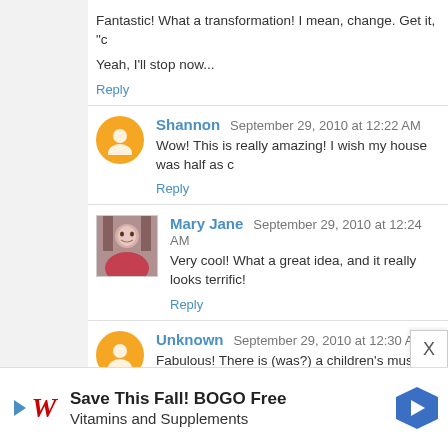Fantastic! What a transformation! I mean, change. Get it, "c
Yeah, I'll stop now...
Reply
Shannon  September 29, 2010 at 12:22 AM
Wow! This is really amazing! I wish my house was half as c
Reply
Mary Jane  September 29, 2010 at 12:24 AM
Very cool! What a great idea, and it really looks terrific!
Reply
Unknown  September 29, 2010 at 12:30 AM
Fabulous! There is (was?) a children's museum in St Lou better.Nice job
Reply
[Figure (infographic): Walgreens advertisement banner: Save This Fall! BOGO Free Vitamins and Supplements]